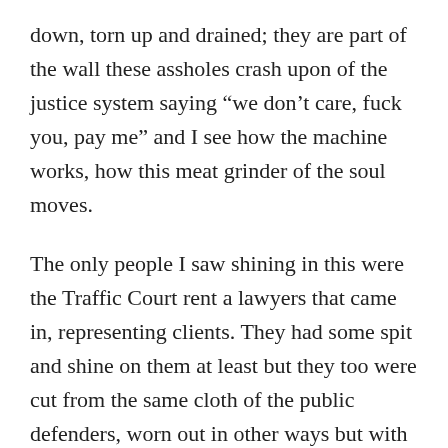down, torn up and drained; they are part of the wall these assholes crash upon of the justice system saying “we don’t care, fuck you, pay me” and I see how the machine works, how this meat grinder of the soul moves.
The only people I saw shining in this were the Traffic Court rent a lawyers that came in, representing clients. They had some spit and shine on them at least but they too were cut from the same cloth of the public defenders, worn out in other ways but with that shit grin of thinking they know how things are worked out. The kind of people you know need to get punched in the